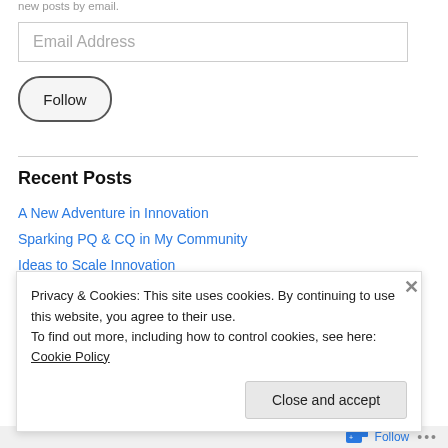new posts by email.
Email Address
Follow
Recent Posts
A New Adventure in Innovation
Sparking PQ & CQ in My Community
Ideas to Scale Innovation
Breaking Out of the Echo Chamber
Privacy & Cookies: This site uses cookies. By continuing to use this website, you agree to their use. To find out more, including how to control cookies, see here: Cookie Policy
Close and accept
Follow ...